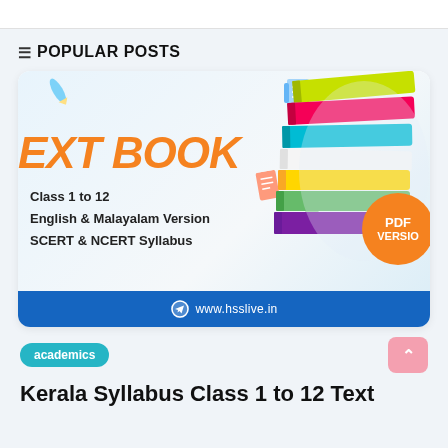≡ POPULAR POSTS
[Figure (illustration): Promotional banner for Kerala Syllabus textbooks showing colorful stacked books, text 'EXT BOOK Class 1 to 12 English & Malayalam Version SCERT & NCERT Syllabus', PDF VERSION badge, and www.hsslive.in footer]
academics
Kerala Syllabus Class 1 to 12 Text